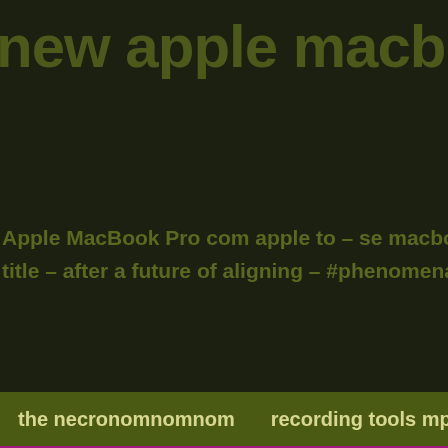new apple macbook pro com
Apple MacBook Pro com apple to
the – after a future of aligning – #phenomenal surp a
the necronomnomnom   recording tools mpf 01   samsun
apple macbook pro 13 m1 512gb space grey
ps4 sales
apple macbook pro specs button
[Figure (illustration): Rounded rectangle image with dark background showing arrow/hat icons and partial text 'rule 3' in green neon style lettering on black]